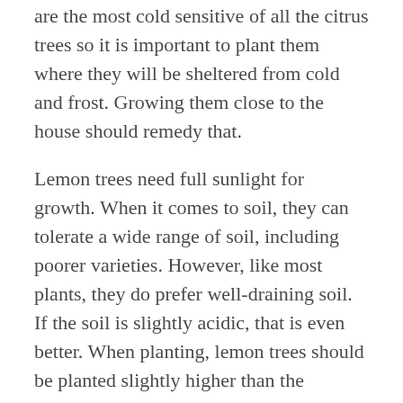are the most cold sensitive of all the citrus trees so it is important to plant them where they will be sheltered from cold and frost. Growing them close to the house should remedy that.
Lemon trees need full sunlight for growth. When it comes to soil, they can tolerate a wide range of soil, including poorer varieties. However, like most plants, they do prefer well-draining soil. If the soil is slightly acidic, that is even better. When planting, lemon trees should be planted slightly higher than the ground. Dig a hole somewhat shallower than the root ball. Place the tree in the hole and replace the soil, tamping firmly.
Water your lemon tree and add some mulch to help retain moisture. Your lemon tree will want a deep watering once a week. If necessary, prune back to maintain the shape and height of the tree. You can also